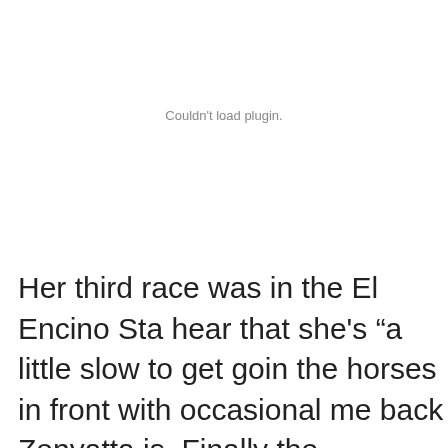Couldn't load plugin.
Her third race was in the El Encino Sta hear that she's "a little slow to get goin the horses in front with occasional me back Zenyatta is. Finally the announce "Now Zenyatta's lengthening her stride just an amazing coverage of ground, s much ground with her bounding stride